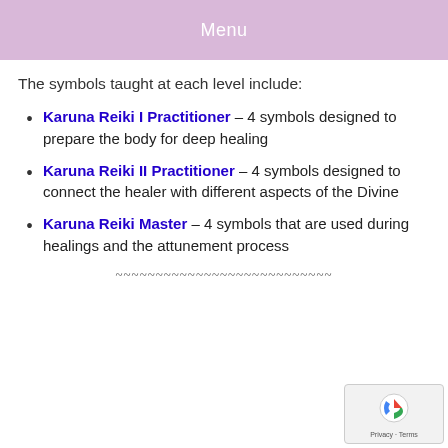Menu
The symbols taught at each level include:
Karuna Reiki I Practitioner – 4 symbols designed to prepare the body for deep healing
Karuna Reiki II Practitioner – 4 symbols designed to connect the healer with different aspects of the Divine
Karuna Reiki Master – 4 symbols that are used during healings and the attunement process
~~~~~~~~~~~~~~~~~~~~~~~~~~~